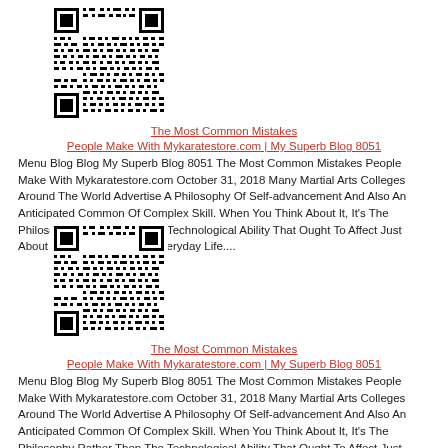[Figure (other): QR code image, black and white, square pattern]
The Most Common Mistakes People Make With Mykaratestore.com | My Superb Blog 8051
Menu Blog Blog My Superb Blog 8051 The Most Common Mistakes People Make With Mykaratestore.com October 31, 2018 Many Martial Arts Colleges Around The World Advertise A Philosophy Of Self-advancement And Also An Anticipated Common Of Complex Skill. When You Think About It, It's The Philosophy Rather Then The Technological Ability That Ought To Affect Just About Every Practitioner's Everyday Life....
[Figure (other): QR code image, black and white, square pattern]
The Most Common Mistakes People Make With Mykaratestore.com | My Superb Blog 8051
Menu Blog Blog My Superb Blog 8051 The Most Common Mistakes People Make With Mykaratestore.com October 31, 2018 Many Martial Arts Colleges Around The World Advertise A Philosophy Of Self-advancement And Also An Anticipated Common Of Complex Skill. When You Think About It, It's The Philosophy Rather Then The Technological Ability That Ought To Affect Just About Every Practitioner's Everyday Life....